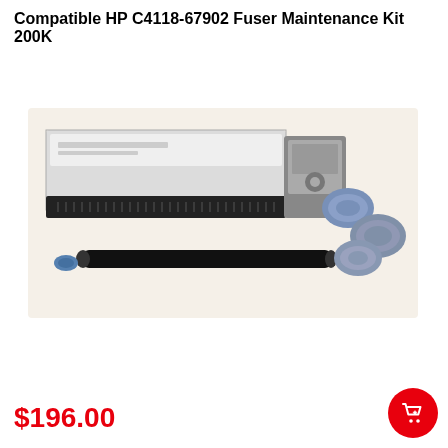Compatible HP C4118-67902 Fuser Maintenance Kit 200K
[Figure (photo): A compatible HP fuser maintenance kit showing the fuser unit, roller, and assorted rubber rollers/parts on a light beige background]
$196.00